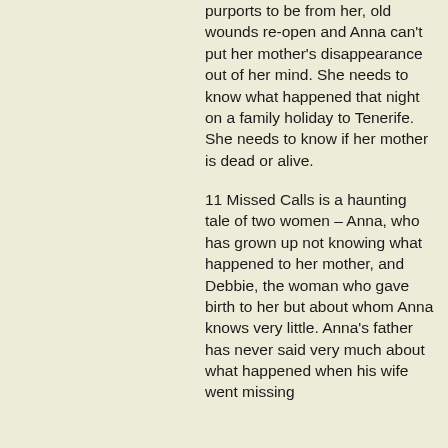purports to be from her, old wounds re-open and Anna can't put her mother's disappearance out of her mind. She needs to know what happened that night on a family holiday to Tenerife. She needs to know if her mother is dead or alive.
11 Missed Calls is a haunting tale of two women – Anna, who has grown up not knowing what happened to her mother, and Debbie, the woman who gave birth to her but about whom Anna knows very little. Anna's father has never said very much about what happened when his wife went missing